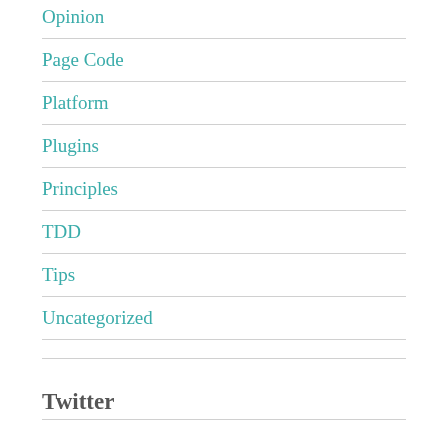Opinion
Page Code
Platform
Plugins
Principles
TDD
Tips
Uncategorized
Twitter